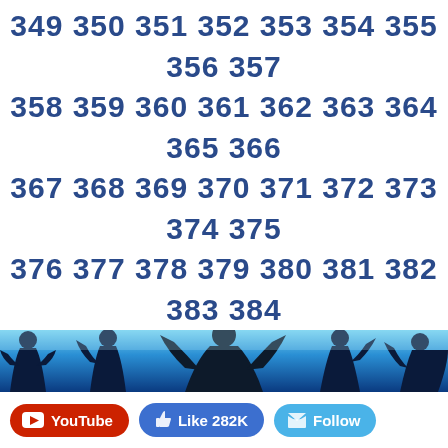349 350 351 352 353 354 355 356 357 358 359 360 361 362 363 364 365 366 367 368 369 370 371 372 373 374 375 376 377 378 379 380 381 382 383 384 385 386 387 388 389 390 391 392 393 394 395 396 397 398 399 400 401 402 403 404 405 406 407 408 409 410 411 412 413 414 415 416 417 418 419 420 421 422 423 424 425 426 427 428 429 430 431 432 433 434 435 436 437 438 439 440 441 442 443 444 445 446 447 448 449 450 451 452 453 454 455 456 457 458 459 460 461 462 463 464 465 466 467 468 469 470 471 472 ...
[Figure (illustration): Blue silhouette banner with dancing figures against a blue gradient background, Michael Jackson themed]
[Figure (infographic): White social media bar with YouTube button (red), Like 282K button (blue), and Follow button (light blue)]
[Figure (illustration): Dark blue Michael Jackson themed image with white cursive Michael Jackson signature/logo]